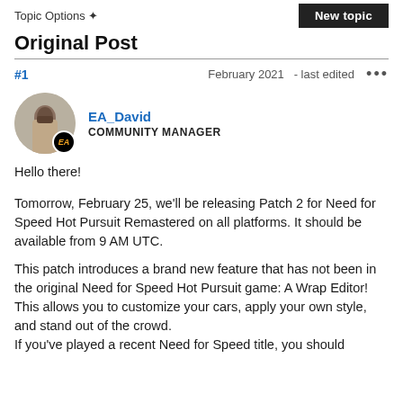Topic Options   New topic
Original Post
#1   February 2021   - last edited   •••
EA_David
COMMUNITY MANAGER
Hello there!
Tomorrow, February 25, we'll be releasing Patch 2 for Need for Speed Hot Pursuit Remastered on all platforms. It should be available from 9 AM UTC.
This patch introduces a brand new feature that has not been in the original Need for Speed Hot Pursuit game: A Wrap Editor!
This allows you to customize your cars, apply your own style, and stand out of the crowd.
If you've played a recent Need for Speed title, you should